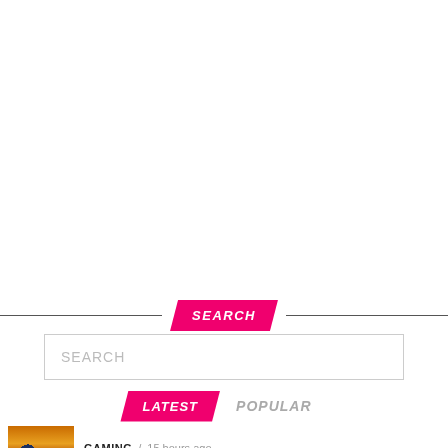SEARCH
SEARCH
LATEST   POPULAR
GAMING / 15 hours ago